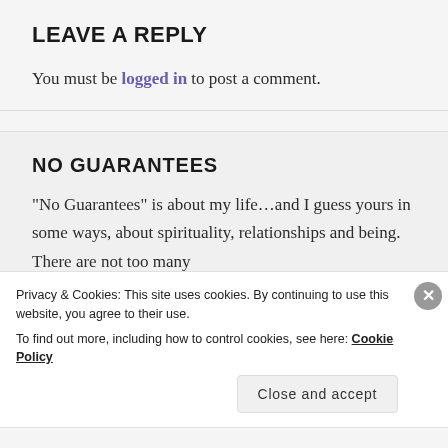LEAVE A REPLY
You must be logged in to post a comment.
NO GUARANTEES
"No Guarantees" is about my life...and I guess yours in some ways, about spirituality, relationships and being. There are not too many
Privacy & Cookies: This site uses cookies. By continuing to use this website, you agree to their use.
To find out more, including how to control cookies, see here: Cookie Policy
Close and accept